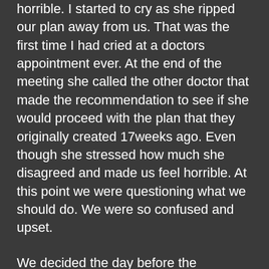horrible. I started to cry as she ripped our plan away from us. That was the first time I had cried at a doctors appointment ever. At the end of the meeting she called the other doctor that made the recommendation to see if she would proceed with the plan that they originally created 17weeks ago. Even though she stressed how much she disagreed and made us feel horrible. At this point we were questioning what we should do. We were so confused and upset.
We decided the day before the procedure was scheduled that we would do the procedure. My main doctor was confident in the procedure and we trust her more then anyone. The actually procedure wasn't as bad as I would have thought. They stuck a needle and tube into my uterus to pull Willow's amniotic fluid. They didn't numb anything and I could feel the pressure of the tube. Whenever I took a breath I could feel a tube in there which caused me to panic. Besides